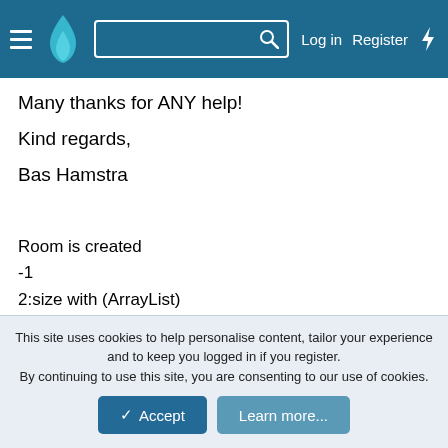Log in  Register
Many thanks for ANY help!
Kind regards,
Bas Hamstra
Room is created
-1
2:size with (ArrayList)
[b4a.game.helper.ParticipantWrapper@417584b8,
b4a.game.helper.ParticipantWrapper@416f0de8]
This site uses cookies to help personalise content, tailor your experience and to keep you logged in if you register.
By continuing to use this site, you are consenting to our use of cookies.